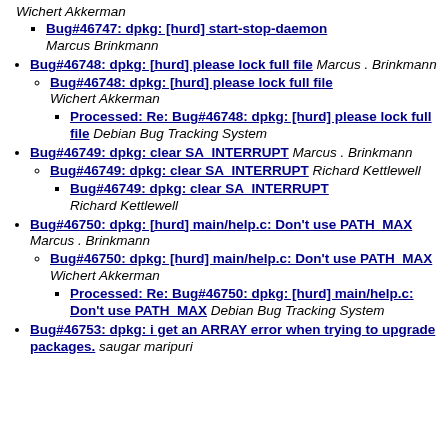Wichert Akkerman
Bug#46747: dpkg: [hurd] start-stop-daemon Marcus Brinkmann
Bug#46748: dpkg: [hurd] please lock full file Marcus . Brinkmann
Bug#46748: dpkg: [hurd] please lock full file Wichert Akkerman
Processed: Re: Bug#46748: dpkg: [hurd] please lock full file Debian Bug Tracking System
Bug#46749: dpkg: clear SA_INTERRUPT Marcus . Brinkmann
Bug#46749: dpkg: clear SA_INTERRUPT Richard Kettlewell
Bug#46749: dpkg: clear SA_INTERRUPT Richard Kettlewell
Bug#46750: dpkg: [hurd] main/help.c: Don't use PATH_MAX Marcus . Brinkmann
Bug#46750: dpkg: [hurd] main/help.c: Don't use PATH_MAX Wichert Akkerman
Processed: Re: Bug#46750: dpkg: [hurd] main/help.c: Don't use PATH_MAX Debian Bug Tracking System
Bug#46753: dpkg: i get an ARRAY error when trying to upgrade packages. saugar maripuri